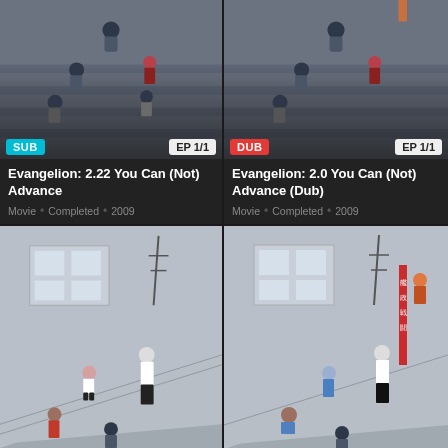[Figure (screenshot): Anime movie thumbnail showing characters on stairs - Evangelion 2.22 You Can (Not) Advance, with SUB badge and EP 1/1 badge]
Evangelion: 2.22 You Can (Not) Advance
Movie • Completed • 2009
[Figure (screenshot): Anime movie thumbnail showing characters on stairs - Evangelion 2.0 You Can (Not) Advance (Dub), with DUB badge and EP 1/1 badge]
Evangelion: 2.0 You Can (Not) Advance (Dub)
Movie • Completed • 2009
[Figure (screenshot): Anime thumbnail showing characters on exterior stairs/ramp near building with windows and power lines]
[Figure (screenshot): Anime thumbnail showing characters on exterior stairs near building with windows and power lines, with Japanese text overlay]